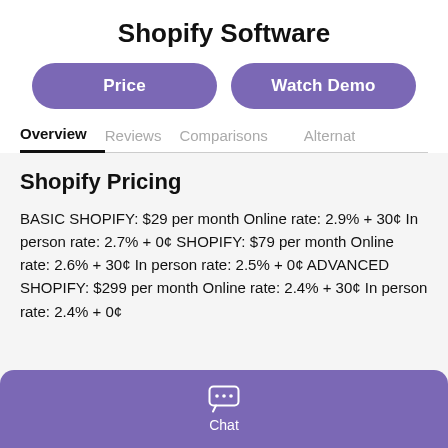Shopify Software
Price
Watch Demo
Overview
Reviews
Comparisons
Alternat
Shopify Pricing
BASIC SHOPIFY: $29 per month Online rate: 2.9% + 30¢ In person rate: 2.7% + 0¢ SHOPIFY: $79 per month Online rate: 2.6% + 30¢ In person rate: 2.5% + 0¢ ADVANCED SHOPIFY: $299 per month Online rate: 2.4% + 30¢ In person rate: 2.4% + 0¢
Chat